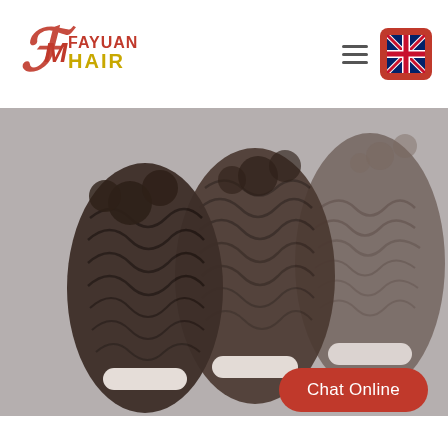[Figure (logo): Fayuan Hair logo with stylized F/M monogram in red and brand name in red and gold text]
[Figure (photo): Deep wave human hair bundles with curly texture, dark brown/black color, shown with wefts visible, arranged in a group product shot on a light background]
Chat Online